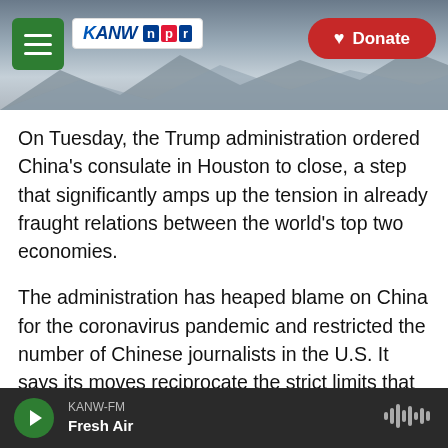[Figure (screenshot): KANW NPR radio station header with hamburger menu button, KANW-NPR logo, and red Donate button over a mountain landscape background photo]
On Tuesday, the Trump administration ordered China's consulate in Houston to close, a step that significantly amps up the tension in already fraught relations between the world's top two economies.
The administration has heaped blame on China for the coronavirus pandemic and restricted the number of Chinese journalists in the U.S. It says its moves reciprocate the strict limits that China places on American journalists.
It has also imposed a string of measures to punish China for alleged human rights abuses in Tibet and
KANW-FM
Fresh Air